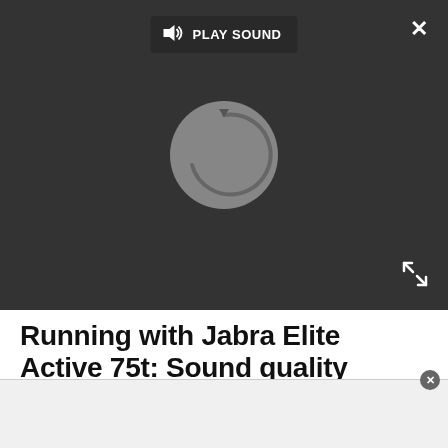[Figure (screenshot): A dark video player area with a 'PLAY SOUND' button at the top center showing a speaker icon and text. A circular loading/refresh spinner is centered in the black video frame. A white X close button is in the top right corner. An expand icon (arrows) is in the bottom right corner.]
Running with Jabra Elite Active 75t: Sound quality
Jabra is one of the most respected names in the audio game, so I had high hopes for sound quality. I had no idea just how curated my sound could be, though. In the Jabra Sound+ app, I explored presets and other cool features that enhance both sound and call quality. I like toying with customizable EQ for running — heavy bass keeps me motivated.